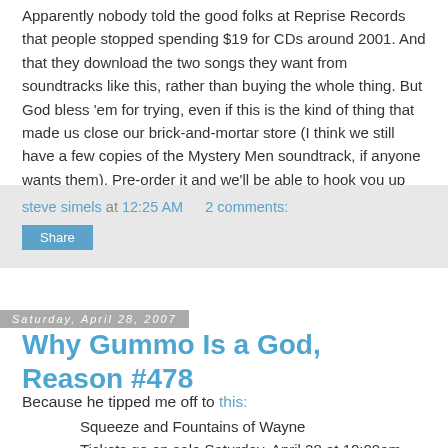Apparently nobody told the good folks at Reprise Records that people stopped spending $19 for CDs around 2001. And that they download the two songs they want from soundtracks like this, rather than buying the whole thing. But God bless 'em for trying, even if this is the kind of thing that made us close our brick-and-mortar store (I think we still have a few copies of the Mystery Men soundtrack, if anyone wants them). Pre-order it and we'll be able to hook you up with it for even less than $18.98!
steve simels at 12:25 AM   2 comments:
Share
Saturday, April 28, 2007
Why Gummo Is a God, Reason #478
Because he tipped me off to this:
Squeeze and Fountains of Wayne
Tickets go on sale Saturday, April 28 at 10:00am.
Category: Concerts